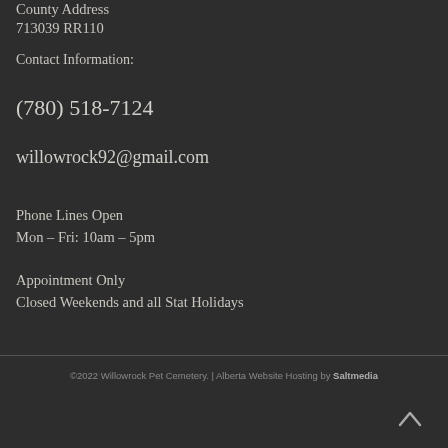County Address
713039 RR110
Contact Information:
(780) 518-7124
willowrock92@gmail.com
Phone Lines Open
Mon – Fri: 10am – 5pm
Appointment Only
Closed Weekends and all Stat Holidays
©2022 Willowrock Pet Cemetery. | Alberta Website Hosting by Saltmedia